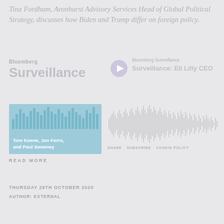Tina Fordham, Avonhurst Advisory Services Head of Global Political Strategy, discusses how Biden and Trump differ on foreign policy.
[Figure (screenshot): Bloomberg Surveillance podcast logo with text 'Bloomberg' above large 'Surveillance' title, and a play button with 'Bloomberg Surveillance – Surveillance: Eli Lilly CEO' to the right]
[Figure (screenshot): Podcast thumbnail showing bar chart waveform in light blue with text 'Tom Keene, Jon Ferro, and Paul Sweeney' overlaid, next to an audio waveform with SHARE, SUBSCRIBE, COOKIE POLICY links]
READ MORE
THURSDAY 29TH OCTOBER 2020
AUTHOR: EXTERNAL